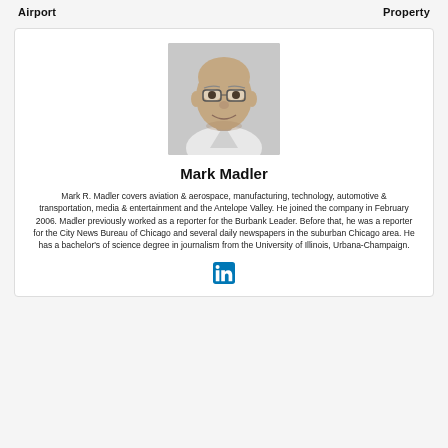Airport    Property
[Figure (photo): Black and white headshot of Mark Madler, a bald man with glasses, smiling]
Mark Madler
Mark R. Madler covers aviation & aerospace, manufacturing, technology, automotive & transportation, media & entertainment and the Antelope Valley. He joined the company in February 2006. Madler previously worked as a reporter for the Burbank Leader. Before that, he was a reporter for the City News Bureau of Chicago and several daily newspapers in the suburban Chicago area. He has a bachelor's of science degree in journalism from the University of Illinois, Urbana-Champaign.
[Figure (logo): LinkedIn logo icon]